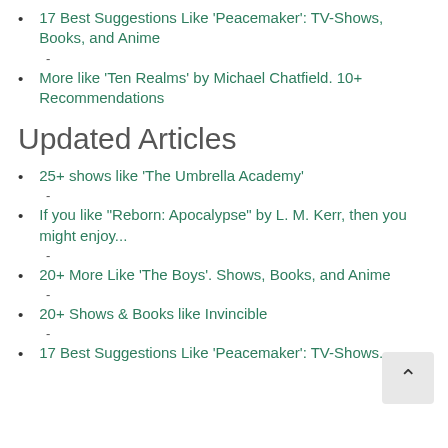17 Best Suggestions Like 'Peacemaker': TV-Shows, Books, and Anime
-
More like 'Ten Realms' by Michael Chatfield. 10+ Recommendations
Updated Articles
25+ shows like 'The Umbrella Academy'
-
If you like "Reborn: Apocalypse" by L. M. Kerr, then you might enjoy...
-
20+ More Like 'The Boys'. Shows, Books, and Anime
-
20+ Shows & Books like Invincible
-
17 Best Suggestions Like 'Peacemaker': TV-Shows...